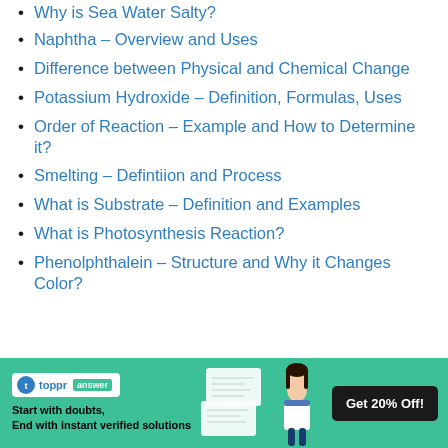Why is Sea Water Salty?
Naphtha – Overview and Uses
Difference between Physical and Chemical Change
Potassium Hydroxide – Definition, Formulas, Uses
Order of Reaction – Example and How to Determine it?
Smelting – Defintiion and Process
What is Substrate – Definition and Examples
What is Photosynthesis Reaction?
Phenolphthalein – Structure and Why it Changes Color?
[Figure (infographic): Toppr Answer app banner with green background. Shows Toppr Answer logo/badge, text 'Start with doubts, End with instant verified solutions', image of schoolgirl, and 'Get 20% Off!' button.]